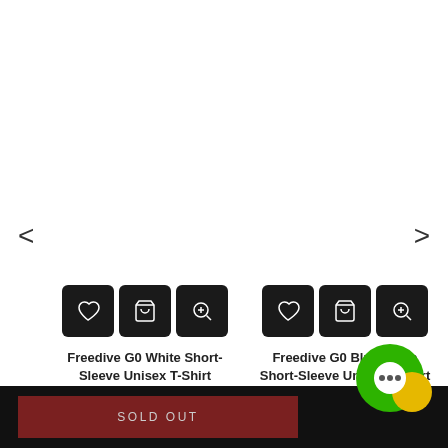[Figure (screenshot): E-commerce product carousel showing two t-shirt products with icon buttons, navigation arrows, star ratings, prices, a sold out button, and a chat widget.]
Freedive G0 White Short-Sleeve Unisex T-Shirt
$33.32
Freedive G0 Blue White Short-Sleeve Unisex T-Shirt
$33.32
SOLD OUT